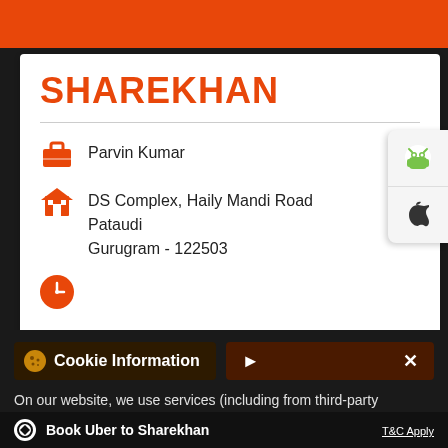[Figure (screenshot): Orange header bar at top of Sharekhan app/website]
SHAREKHAN
Parvin Kumar
DS Complex, Haily Mandi Road
Pataudi
Gurugram - 122503
[Figure (illustration): Clock icon (orange circle)]
[Figure (illustration): Android and Apple app store buttons on right side]
Cookie Information
On our website, we use services (including from third-party providers) that help us to improve our online presence (optimization of website) and to display content that is geared to their interests. We need your consent before being able to use these services.
Book Uber to Sharekhan
T&C Apply